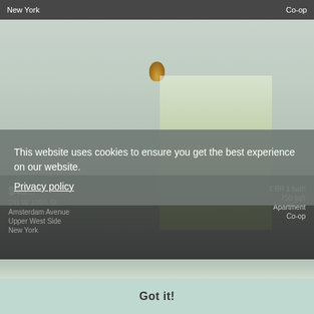New York   Co-op
[Figure (photo): Interior photo of a living room with ceiling light, windows with green curtains, plants, sofa, TV, and artwork on walls]
$49... 1 BR 1 bath 750 sqft
241 W 108th St... Amsterdam Avenue Upper West Side New York
1 BR 1 bath 750 sqft Apartment Co-op
This website uses cookies to ensure you get the best experience on our website.
Privacy policy
Got it!
[Figure (photo): Partial view of another apartment listing photo at bottom of page]